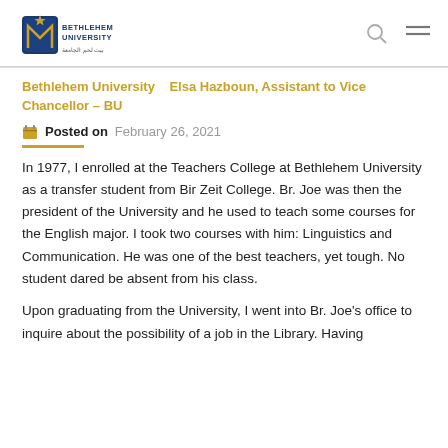[Figure (logo): Bethlehem University logo with crest and Arabic text]
Bethlehem University  Elsa Hazboun, Assistant to Vice Chancellor – BU
Posted on February 26, 2021
In 1977, I enrolled at the Teachers College at Bethlehem University as a transfer student from Bir Zeit College. Br. Joe was then the president of the University and he used to teach some courses for the English major. I took two courses with him: Linguistics and Communication. He was one of the best teachers, yet tough. No student dared be absent from his class.
Upon graduating from the University, I went into Br. Joe's office to inquire about the possibility of a job in the Library. Having